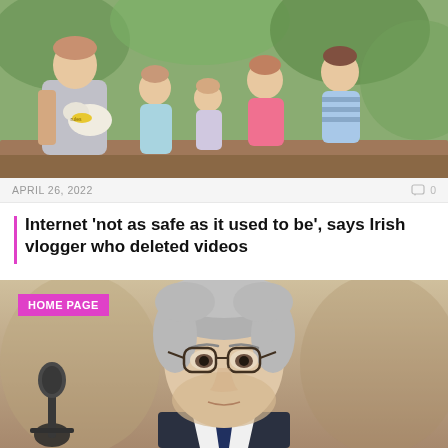[Figure (photo): Family photo showing a man holding a small white dog wearing a yellow bandana, seated with four young children outdoors among green foliage]
APRIL 26, 2022   0
Internet 'not as safe as it used to be', says Irish vlogger who deleted videos
An Irish vlogger who recently deleted thousands of videos from his YouTube account said he...
[Figure (photo): Close-up photo of an older man with grey hair and glasses, appearing to speak at a microphone. A 'HOME PAGE' badge is overlaid on the top-left corner.]